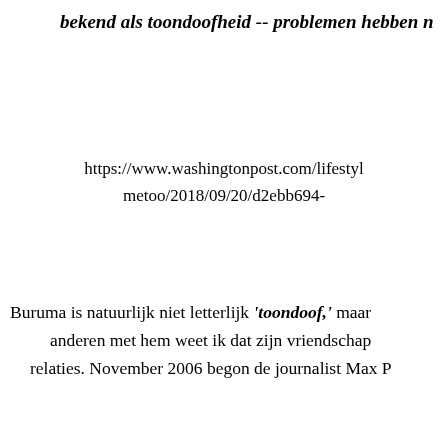bekend als toondoofheid -- problemen hebben n
https://www.washingtonpost.com/lifestyl metoo/2018/09/20/d2ebb694-
Buruma is natuurlijk niet letterlijk 'toondoof,' maar anderen met hem weet ik dat zijn vriendschap relaties. November 2006 begon de journalist Max P